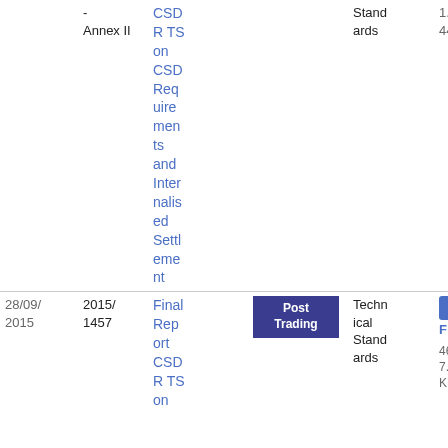| Date | Reference | Title | Tag | Type | File |
| --- | --- | --- | --- | --- | --- |
| -
Annex II | CSDR TS on CSD Requirements and Internalised Settlement |  | Standards | 1.44 MB |
| 28/09/2015 | 2015/1457 | Final Report CSDR TS on | Post Trading | Technical Standards | PDF
467.07 KB |